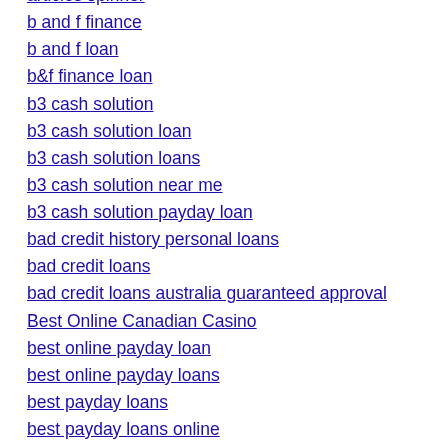articles spinner
b and f finance
b and f loan
b&f finance loan
b3 cash solution
b3 cash solution loan
b3 cash solution loans
b3 cash solution near me
b3 cash solution payday loan
bad credit history personal loans
bad credit loans
bad credit loans australia guaranteed approval
Best Online Canadian Casino
best online payday loan
best online payday loans
best payday loans
best payday loans online
best same day loans
big valley financial login